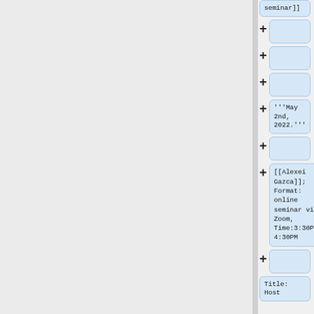seminar]]
+
+
+
+ '''May 2nd, 2022.'''
+
+ [[Alexei Gazca]]; Format: online seminar via Zoom, Time:3:30PM-4:30PM
+
Title: Host